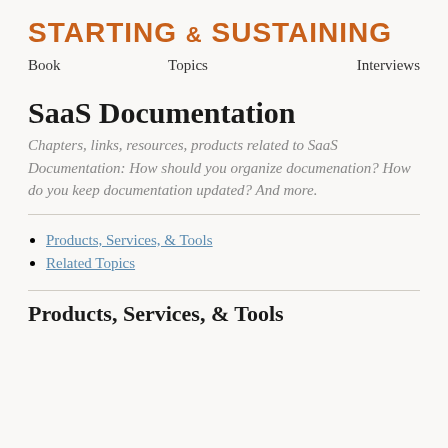STARTING & SUSTAINING
Book   Topics   Interviews
SaaS Documentation
Chapters, links, resources, products related to SaaS Documentation: How should you organize documenation? How do you keep documentation updated? And more.
Products, Services, & Tools
Related Topics
Products, Services, & Tools